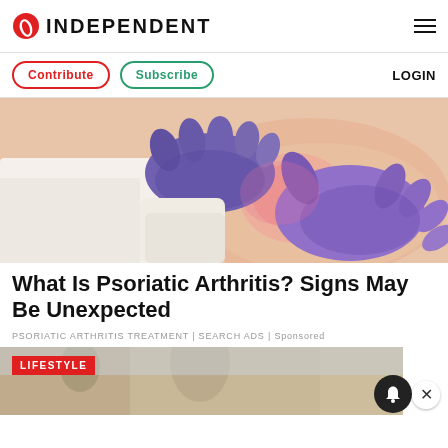INDEPENDENT
Contribute | Subscribe | LOGIN
[Figure (photo): Medical professional wearing purple gloves examining or treating a patient's skin, showing a close-up of gloved hands pressing on skin with a reddish inflammation area visible.]
What Is Psoriatic Arthritis? Signs May Be Unexpected
PSORIATIC ARTHRITIS TREATMENT | SEARCH ADS | Sponsored
[Figure (photo): Partial image of a lifestyle article with a LIFESTYLE badge in red and a notification bell button and close (X) button overlaid.]